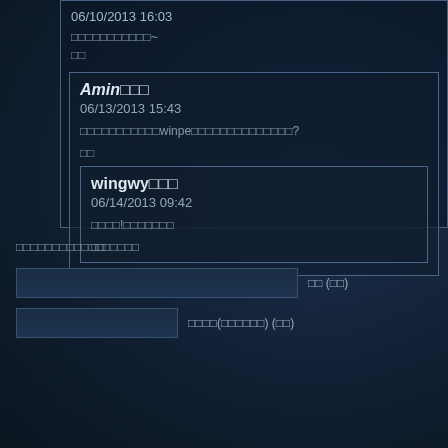06/10/2013 16:03
□□□□□□□□□□□~
□□
Amin□□□
06/13/2013 15:43
□□□□□□□□□□□winpe□□□□□□□□□□□□□□?
□□
wingwy□□□
06/14/2013 09:42
□□□□!□□□□□□□
□□
□□□□□□□□□□□□□□□□□
□□ (□□)
□□□□(□□□□□□) (□□)